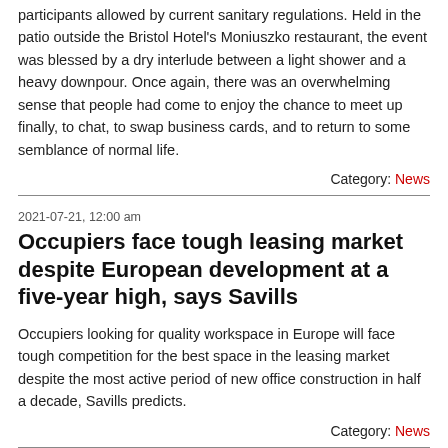participants allowed by current sanitary regulations. Held in the patio outside the Bristol Hotel's Moniuszko restaurant, the event was blessed by a dry interlude between a light shower and a heavy downpour. Once again, there was an overwhelming sense that people had come to enjoy the chance to meet up finally, to chat, to swap business cards, and to return to some semblance of normal life.
Category: News
2021-07-21, 12:00 am
Occupiers face tough leasing market despite European development at a five-year high, says Savills
Occupiers looking for quality workspace in Europe will face tough competition for the best space in the leasing market despite the most active period of new office construction in half a decade, Savills predicts.
Category: News
2021-08-14, 12:00 am